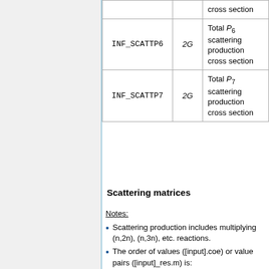| Name | Size | Description |
| --- | --- | --- |
|  |  | cross section |
| INF_SCATTP6 | 2G | Total P6 scattering production cross section |
| INF_SCATTP7 | 2G | Total P7 scattering production cross section |
Scattering matrices
Notes:
Scattering production includes multiplying (n,2n), (n,3n), etc. reactions.
The order of values ([input].coe) or value pairs ([input]_res.m) is: Σ1,1 Σ1,2 ... Σ2,1 Σ2,2 ... where Σ refers to scattering from group